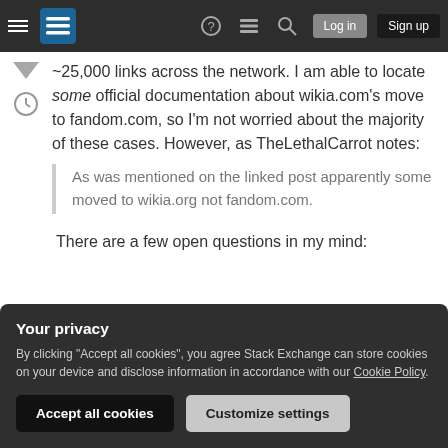Stack Exchange navigation bar with hamburger menu, logo, help, chat, search icons, Log in and Sign up buttons
~25,000 links across the network. I am able to locate some official documentation about wikia.com's move to fandom.com, so I'm not worried about the majority of these cases. However, as TheLethalCarrot notes:
As was mentioned on the linked post apparently some moved to wikia.org not fandom.com.
There are a few open questions in my mind:
Your privacy
By clicking "Accept all cookies", you agree Stack Exchange can store cookies on your device and disclose information in accordance with our Cookie Policy.
Accept all cookies   Customize settings